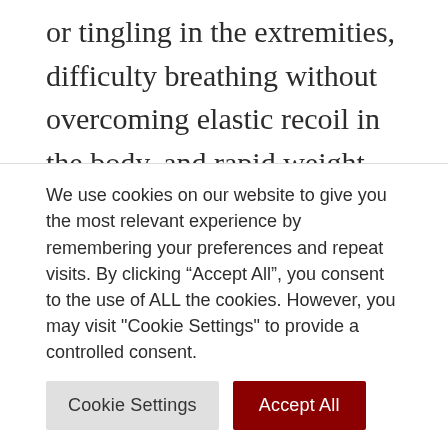or tingling in the extremities, difficulty breathing without overcoming elastic recoil in the body, and rapid weight gain.
Back and neck pain can be sore and downright annoying. If you've ever suffered from this kind of pain or spent hours each day pushing through it to get your job done, you know how frustrating it can be.
We use cookies on our website to give you the most relevant experience by remembering your preferences and repeat visits. By clicking "Accept All", you consent to the use of ALL the cookies. However, you may visit "Cookie Settings" to provide a controlled consent.